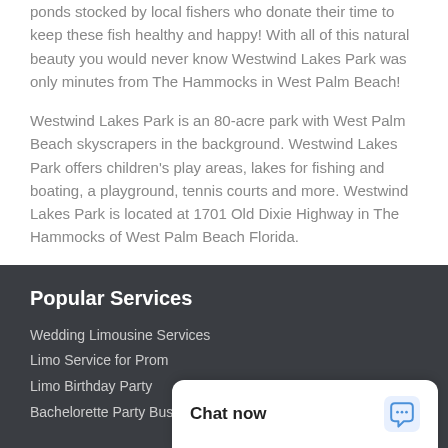ponds stocked by local fishers who donate their time to keep these fish healthy and happy! With all of this natural beauty you would never know Westwind Lakes Park was only minutes from The Hammocks in West Palm Beach!
Westwind Lakes Park is an 80-acre park with West Palm Beach skyscrapers in the background. Westwind Lakes Park offers children's play areas, lakes for fishing and boating, a playground, tennis courts and more. Westwind Lakes Park is located at 1701 Old Dixie Highway in The Hammocks of West Palm Beach Florida.
Popular Services
Wedding Limousine Services
Limo Service for Prom
Limo Birthday Party
Bachelorette Party Bus